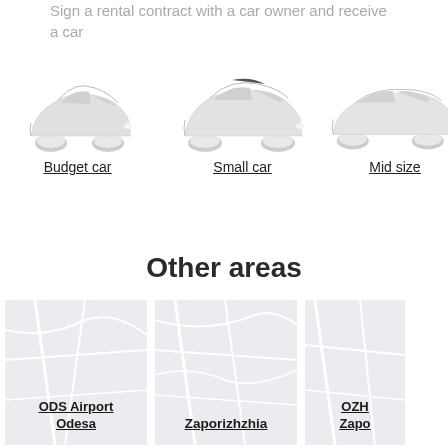Sign a rental contract with a car owner and receive a car
[Figure (illustration): Budget car - small white hatchback viewed from side]
Budget car
[Figure (illustration): Small car - white crossover/hatchback viewed from side]
Small car
[Figure (illustration): Mid size car - white sedan viewed from side (partially visible)]
Mid size
Other areas
[Figure (map): Map thumbnail for ODS Airport Odesa area]
ODS Airport Odesa
[Figure (map): Map thumbnail for Zaporizhzhia area]
Zaporizhzhia
[Figure (map): Map thumbnail for OZH Zaporizhzhia area (partially visible)]
OZH Zapo